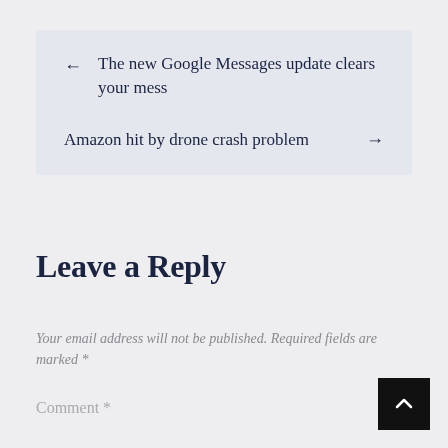← The new Google Messages update clears your mess
Amazon hit by drone crash problem →
Leave a Reply
Your email address will not be published. Required fields are marked *
Comment *